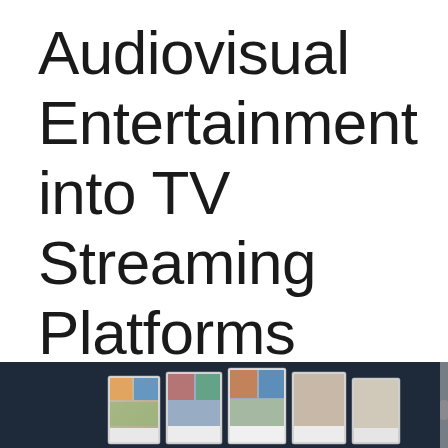Audiovisual Entertainment into TV Streaming Platforms
[Figure (photo): Photo showing multiple TV screens/displays arranged in a row on a dark navy background, each screen showing different media content thumbnails, resembling a streaming platform interface.]